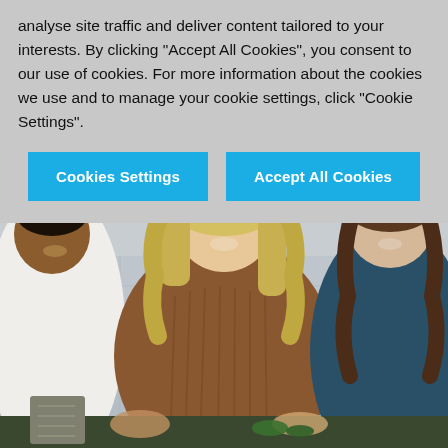analyse site traffic and deliver content tailored to your interests. By clicking "Accept All Cookies", you consent to our use of cookies. For more information about the cookies we use and to manage your cookie settings, click "Cookie Settings".
Cookies Settings
Accept All Cookies
[Figure (photo): Three people smiling and laughing together in a kitchen setting. A person in a white shirt on the left, a woman with long blonde wavy hair wearing a brown knit sweater in the center, and a woman with dark wavy hair wearing a teal/dark blue top on the right. They appear to be preparing food at a counter.]